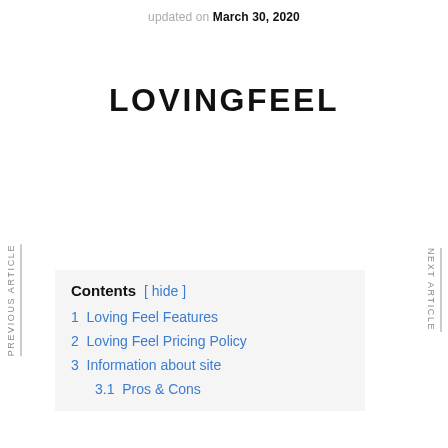updated on March 30, 2020
LOVINGFEEL
PREVIOUS ARTICLE
NEXT ARTICLE
Contents [ hide ]
1  Loving Feel Features
2  Loving Feel Pricing Policy
3  Information about site
3.1  Pros & Cons